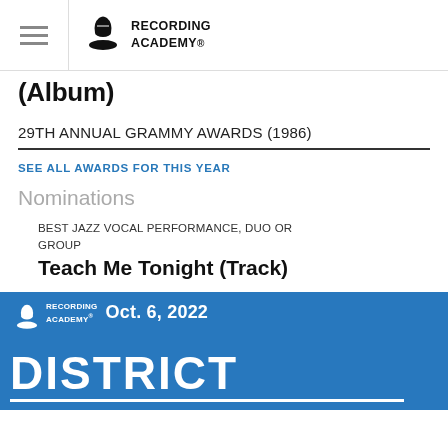Recording Academy
(Album)
29TH ANNUAL GRAMMY AWARDS (1986)
SEE ALL AWARDS FOR THIS YEAR
Nominations
BEST JAZZ VOCAL PERFORMANCE, DUO OR GROUP
Teach Me Tonight (Track)
[Figure (infographic): Recording Academy promotional banner in blue showing 'Oct. 6, 2022 DISTRICT' text with Grammy trophy logo]